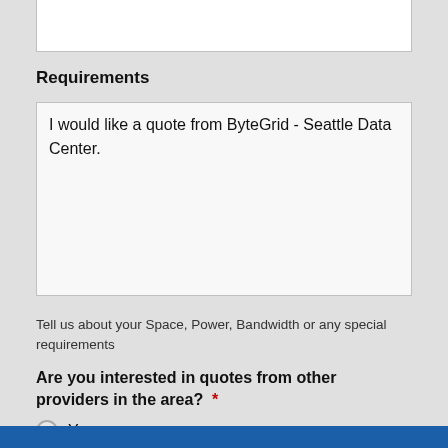Requirements
I would like a quote from ByteGrid - Seattle Data Center.
Tell us about your Space, Power, Bandwidth or any special requirements
Are you interested in quotes from other providers in the area?  *
Yes
No